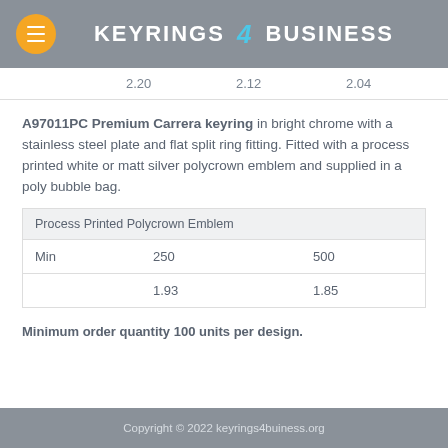KEYRINGS 4 BUSINESS
|  | 2.20 | 2.12 | 2.04 |
| --- | --- | --- | --- |
A97011PC Premium Carrera keyring in bright chrome with a stainless steel plate and flat split ring fitting. Fitted with a process printed white or matt silver polycrown emblem and supplied in a poly bubble bag.
| Process Printed Polycrown Emblem |  |  |
| --- | --- | --- |
| Min | 250 | 500 |
|  | 1.93 | 1.85 |
Minimum order quantity 100 units per design.
Copyright © 2022 keyrings4buiness.org